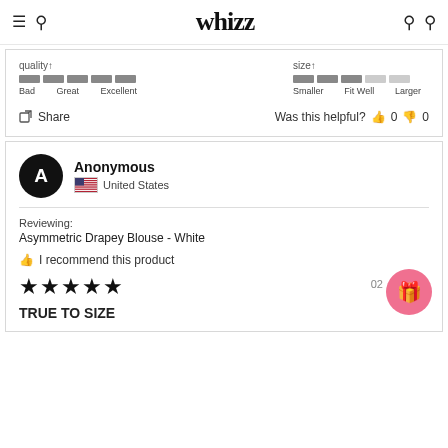whizz
[Figure (infographic): Rating bars for Quality (Bad/Great/Excellent) and Size (Smaller/Fit Well/Larger). Quality shows 5 dark grey segments. Size shows 3 dark segments and 2 light grey segments.]
Share   Was this helpful?  👍 0  👎 0
Anonymous
United States
Reviewing:
Asymmetric Drapey Blouse - White
👍 I recommend this product
[Figure (infographic): 5 filled black stars rating]
02
TRUE TO SIZE